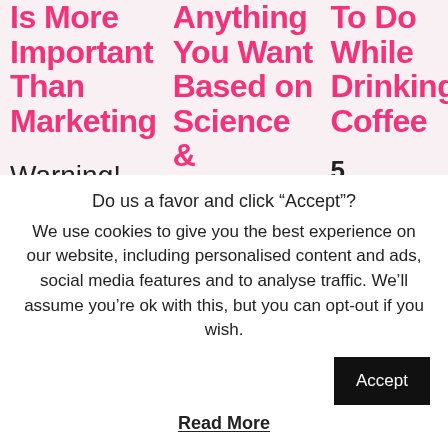Is More Important Than Marketing
Anything You Want Based on Science & Emotions
To Do While Drinking Coffee
Warning! Some of you may
5 Success Habits To Do While
Do us a favor and click “Accept”?
We use cookies to give you the best experience on our website, including personalised content and ads, social media features and to analyse traffic. We’ll assume you’re ok with this, but you can opt-out if you wish.
Accept
Read More